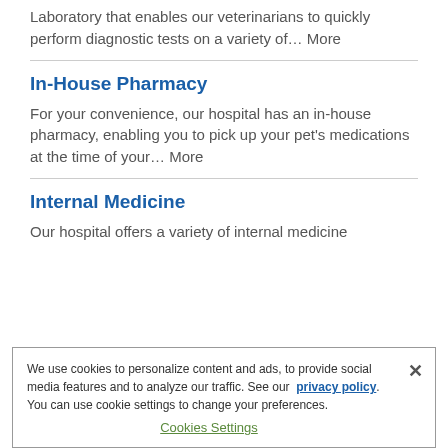Laboratory that enables our veterinarians to quickly perform diagnostic tests on a variety of... More
In-House Pharmacy
For your convenience, our hospital has an in-house pharmacy, enabling you to pick up your pet's medications at the time of your... More
Internal Medicine
Our hospital offers a variety of internal medicine
We use cookies to personalize content and ads, to provide social media features and to analyze our traffic. See our privacy policy. You can use cookie settings to change your preferences.
Cookies Settings